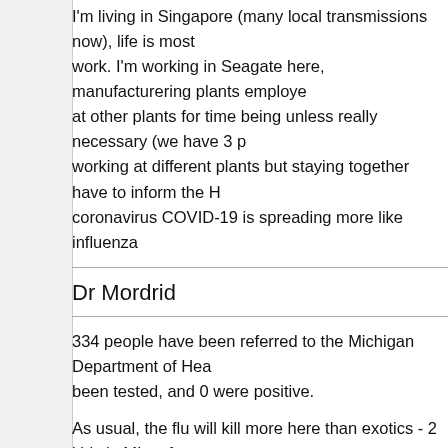I'm living in Singapore (many local transmissions now), life is most... work. I'm working in Seagate here, manufacturering plants employe... at other plants for time being unless really necessary (we have 3 p... working at different plants but staying together have to inform the H... coronavirus COVID-19 is spreading more like influenza
Dr Mordrid
334 people have been referred to the Michigan Department of Hea... been tested, and 0 were positive.
As usual, the flu will kill more here than exotics - 2 kids in MI so fa...
https://www.michiganradio.org/post/c...more-dangerous
UtwigMU
Shit is nearing the fan.
3 dead in italy, several 100 infected, 11 towns in isolation, people w... who go in will not be able to come back. Empty shelves in Milano. ... Venice churches off.
In Ukraine a bus of Ukrainian and other (Ukraine evacuated citizen... Monte Negro) evacuees from Wuhan has been pelted with rocks a...